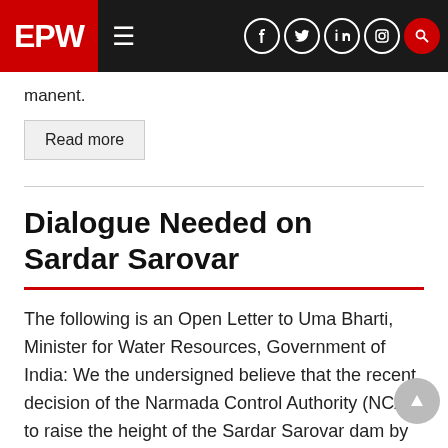EPW
manent.
Read more
Dialogue Needed on Sardar Sarovar
The following is an Open Letter to Uma Bharti, Minister for Water Resources, Government of India: We the undersigned believe that the recent decision of the Narmada Control Authority (NCA) to raise the height of the Sardar Sarovar dam by 16.76 metres (m) taking the height to the designed final…